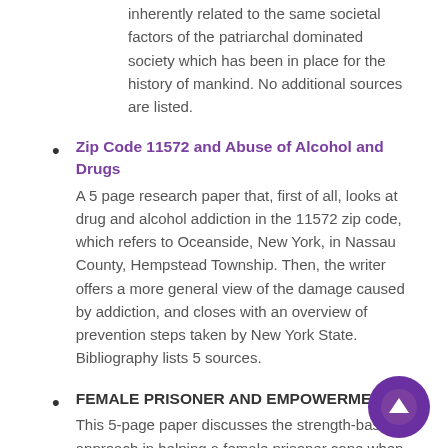inherently related to the same societal factors of the patriarchal dominated society which has been in place for the history of mankind. No additional sources are listed.
Zip Code 11572 and Abuse of Alcohol and Drugs
A 5 page research paper that, first of all, looks at drug and alcohol addiction in the 11572 zip code, which refers to Oceanside, New York, in Nassau County, Hempstead Township. Then, the writer offers a more general view of the damage caused by addiction, and closes with an overview of prevention steps taken by New York State. Bibliography lists 5 sources.
FEMALE PRISONER AND EMPOWERMENT
This 5-page paper discusses the strength-based approach in helping a female prisoner cope when